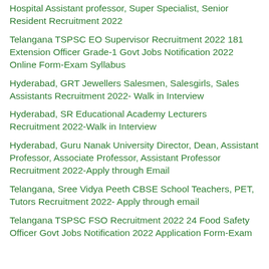Hospital Assistant professor, Super Specialist, Senior Resident Recruitment 2022
Telangana TSPSC EO Supervisor Recruitment 2022 181 Extension Officer Grade-1 Govt Jobs Notification 2022 Online Form-Exam Syllabus
Hyderabad, GRT Jewellers Salesmen, Salesgirls, Sales Assistants Recruitment 2022- Walk in Interview
Hyderabad, SR Educational Academy Lecturers Recruitment 2022-Walk in Interview
Hyderabad, Guru Nanak University Director, Dean, Assistant Professor, Associate Professor, Assistant Professor Recruitment 2022-Apply through Email
Telangana, Sree Vidya Peeth CBSE School Teachers, PET, Tutors Recruitment 2022- Apply through email
Telangana TSPSC FSO Recruitment 2022 24 Food Safety Officer Govt Jobs Notification 2022 Application Form-Exam